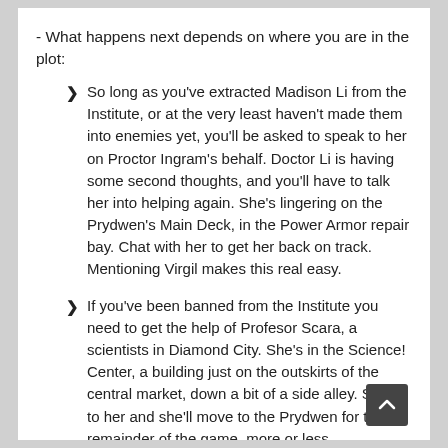- What happens next depends on where you are in the plot:
So long as you've extracted Madison Li from the Institute, or at the very least haven't made them into enemies yet, you'll be asked to speak to her on Proctor Ingram's behalf. Doctor Li is having some second thoughts, and you'll have to talk her into helping again. She's lingering on the Prydwen's Main Deck, in the Power Armor repair bay. Chat with her to get her back on track. Mentioning Virgil makes this real easy.
If you've been banned from the Institute you need to get the help of Profesor Scara, a scientists in Diamond City. She's in the Science! Center, a building just on the outskirts of the central market, down a bit of a side alley. Speak to her and she'll move to the Prydwen for the remainder of the game, more or less.